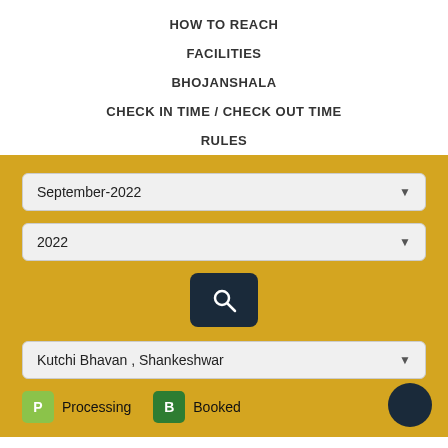HOW TO REACH
FACILITIES
BHOJANSHALA
CHECK IN TIME / CHECK OUT TIME
RULES
[Figure (screenshot): Yellow/golden booking interface with two dropdowns (September-2022, 2022), a search button with magnifying glass icon, a third dropdown (Kutchi Bhavan, Shankeshwar), and a legend row showing P=Processing and B=Booked badges with a dark circle icon on the right]